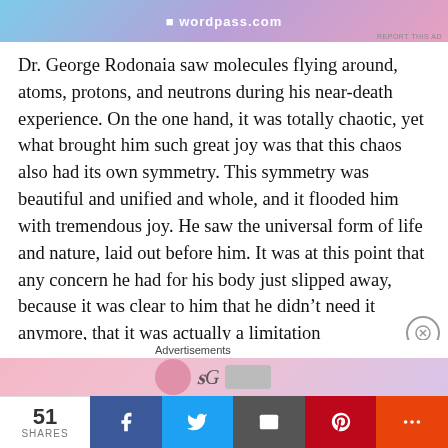[Figure (other): Advertisement banner with gradient background (blue to pink) and white text logo area at top of page. Small 'REPORT THIS AD' label at bottom right.]
Dr. George Rodonaia saw molecules flying around, atoms, protons, and neutrons during his near-death experience. On the one hand, it was totally chaotic, yet what brought him such great joy was that this chaos also had its own symmetry. This symmetry was beautiful and unified and whole, and it flooded him with tremendous joy. He saw the universal form of life and nature, laid out before him. It was at this point that any concern he had for his body just slipped away, because it was clear to him that he didn’t need it anymore, that it was actually a limitation
[Figure (other): Advertisements section with a pink/purple gradient ad image strip at bottom of content area.]
51 SHARES  [Facebook] [Twitter] [Email] [Pinterest] [More]